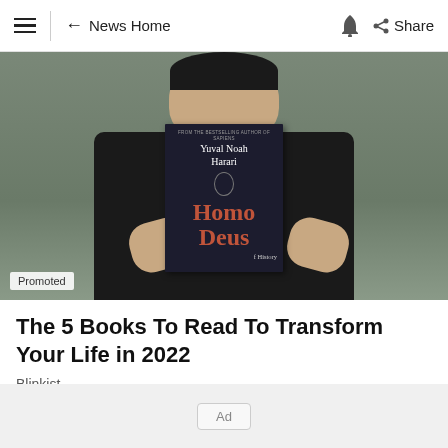≡  ← News Home  🔔  Share
[Figure (photo): Person holding up a copy of 'Homo Deus' by Yuval Noah Harari in front of their face. The book cover is black with red title text. Background has yellow decorative circles. A 'Promoted' badge is visible in the bottom-left of the image.]
The 5 Books To Read To Transform Your Life in 2022
Blinkist
Ad